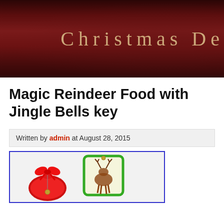Christmas De
Magic Reindeer Food with Jingle Bells key
Written by admin at August 28, 2015
[Figure (photo): Photo of magic reindeer food gift bags — a red organza bag with jingle bell charm and a green heart-shaped picture frame with reindeer, both against a white background.]